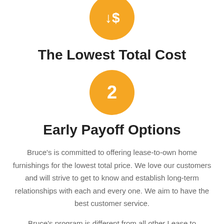[Figure (illustration): Gold/orange circle icon with a downward arrow and dollar sign symbol]
The Lowest Total Cost
[Figure (illustration): Gold/orange circle with the number 2 in white]
Early Payoff Options
Bruce's is committed to offering lease-to-own home furnishings for the lowest total price. We love our customers and will strive to get to know and establish long-term relationships with each and every one. We aim to have the best customer service.
Bruce's program is different from all other Lease to